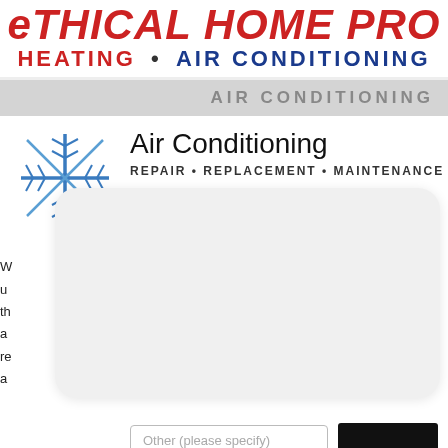ETHICAL HOME PRO HEATING • AIR CONDITIONING
AIR CONDITIONING
[Figure (illustration): Blue snowflake decorative icon]
Air Conditioning
REPAIR • REPLACEMENT • MAINTENANCE
W... u... th... a... re... a...
A... c... y... s... d...
Other (please specify)